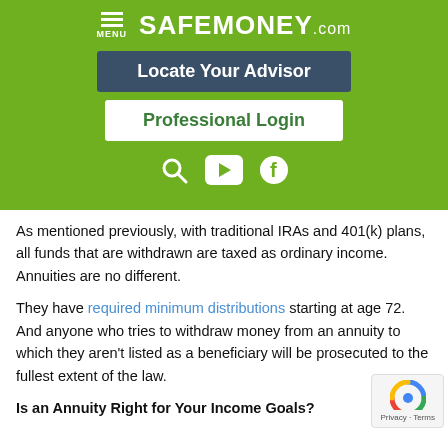[Figure (screenshot): SafeMoney.com website header with green background, hamburger menu icon, SAFEMONEY.com logo, 'Locate Your Advisor' dark teal button, 'Professional Login' white outlined button, and search/YouTube/Facebook icons]
As mentioned previously, with traditional IRAs and 401(k) plans, all funds that are withdrawn are taxed as ordinary income. Annuities are no different.
They have required minimum distributions starting at age 72. And anyone who tries to withdraw money from an annuity to which they aren't listed as a beneficiary will be prosecuted to the fullest extent of the law.
Is an Annuity Right for Your Income Goals?